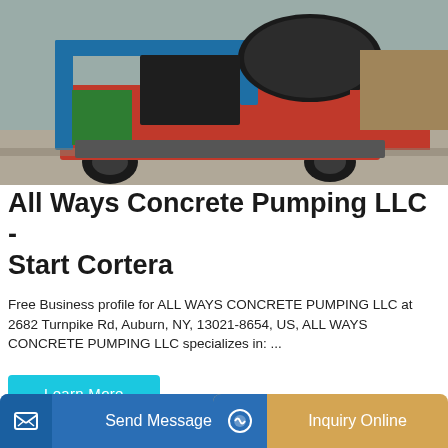[Figure (photo): Industrial concrete pumping equipment/truck on a construction site, with blue metal frame, red panels, black tires, a large black cylindrical drum, parked on a concrete surface outdoors.]
All Ways Concrete Pumping LLC - Start Cortera
Free Business profile for ALL WAYS CONCRETE PUMPING LLC at 2682 Turnpike Rd, Auburn, NY, 13021-8654, US, ALL WAYS CONCRETE PUMPING LLC specializes in: ...
[Figure (photo): Partial view of a light-blue sky background with industrial equipment visible at the bottom edge.]